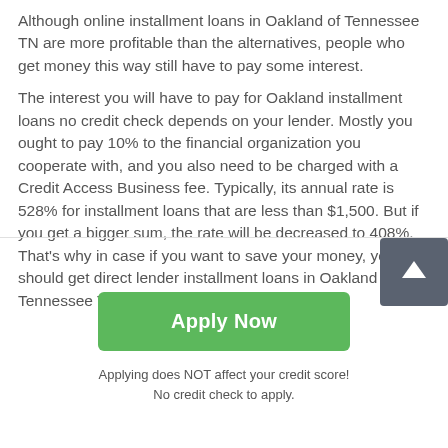Although online installment loans in Oakland of Tennessee TN are more profitable than the alternatives, people who get money this way still have to pay some interest.
The interest you will have to pay for Oakland installment loans no credit check depends on your lender. Mostly you ought to pay 10% to the financial organization you cooperate with, and you also need to be charged with a Credit Access Business fee. Typically, its annual rate is 528% for installment loans that are less than $1,500. But if you get a bigger sum, the rate will be decreased to 408%. That's why in case if you want to save your money, you should get direct lender installment loans in Oakland Tennessee TN that are more than $1,500.
[Figure (other): Scroll to top button — dark grey square with upward arrow icon]
Apply Now
Applying does NOT affect your credit score!
No credit check to apply.